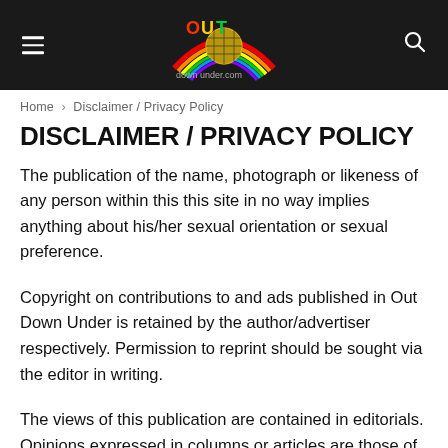[Figure (logo): Out Down Under website header with rainbow-colored logo on dark background, hamburger menu icon on left, search icon on right]
Home › Disclaimer / Privacy Policy
DISCLAIMER / PRIVACY POLICY
The publication of the name, photograph or likeness of any person within this this site in no way implies anything about his/her sexual orientation or sexual preference.
Copyright on contributions to and ads published in Out Down Under is retained by the author/advertiser respectively. Permission to reprint should be sought via the editor in writing.
The views of this publication are contained in editorials. Opinions expressed in columns or articles are those of the author/s and do not necessarily reflect those of the